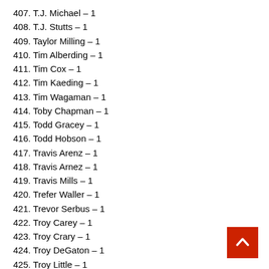407. T.J. Michael – 1
408. T.J. Stutts – 1
409. Taylor Milling – 1
410. Tim Alberding – 1
411. Tim Cox – 1
412. Tim Kaeding – 1
413. Tim Wagaman – 1
414. Toby Chapman – 1
415. Todd Gracey – 1
416. Todd Hobson – 1
417. Travis Arenz – 1
418. Travis Arnez – 1
419. Travis Mills – 1
420. Trefer Waller – 1
421. Trevor Serbus – 1
422. Troy Carey – 1
423. Troy Crary – 1
424. Troy DeGaton – 1
425. Troy Little – 1
426. Tucker Doughty – 1